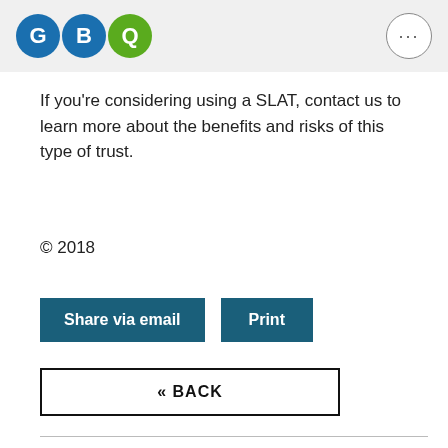GBQ
If you're considering using a SLAT, contact us to learn more about the benefits and risks of this type of trust.
© 2018
Share via email   Print
« BACK
[Figure (photo): Photo of two people outdoors with green foliage in background]